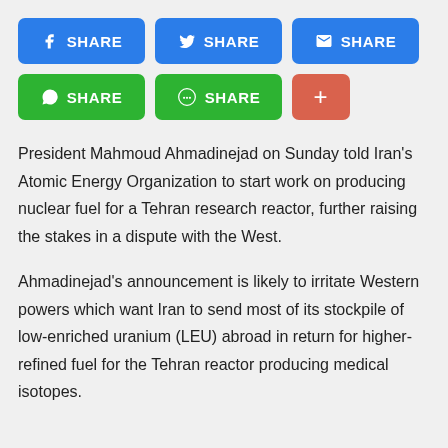[Figure (other): Social sharing buttons row 1: Facebook Share (blue), Twitter Share (blue), Email Share (blue)]
[Figure (other): Social sharing buttons row 2: WhatsApp Share (green), Line Share (green), Plus button (red-orange)]
President Mahmoud Ahmadinejad on Sunday told Iran's Atomic Energy Organization to start work on producing nuclear fuel for a Tehran research reactor, further raising the stakes in a dispute with the West.
Ahmadinejad's announcement is likely to irritate Western powers which want Iran to send most of its stockpile of low-enriched uranium (LEU) abroad in return for higher-refined fuel for the Tehran reactor producing medical isotopes.